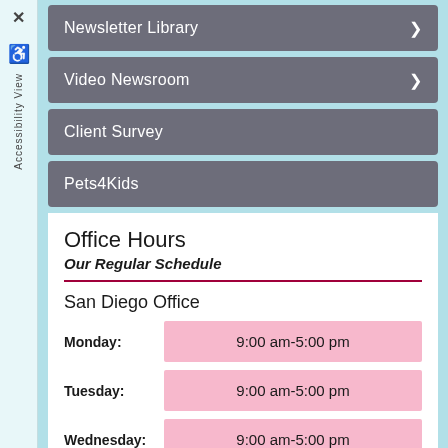Newsletter Library
Video Newsroom
Client Survey
Pets4Kids
Office Hours
Our Regular Schedule
San Diego Office
| Day | Hours |
| --- | --- |
| Monday: | 9:00 am-5:00 pm |
| Tuesday: | 9:00 am-5:00 pm |
| Wednesday: | 9:00 am-5:00 pm |